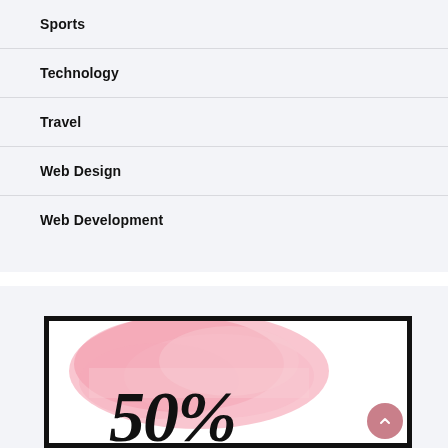Sports
Technology
Travel
Web Design
Web Development
[Figure (illustration): A promotional image with a pink watercolor splash background and large italic handwritten-style text showing '50' partially visible, framed in a thick black border.]